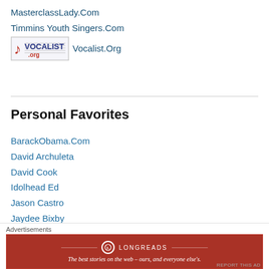MasterclassLady.Com
Timmins Youth Singers.Com
Vocalist.Org
Personal Favorites
BarackObama.Com
David Archuleta
David Cook
Idolhead Ed
Jason Castro
Jaydee Bixby
MaghanMcPhee.Com
Patricia O'Callaghan.Com
The Canadian Tenors
Advertisements
[Figure (other): Longreads advertisement banner: The best stories on the web – ours, and everyone else's.]